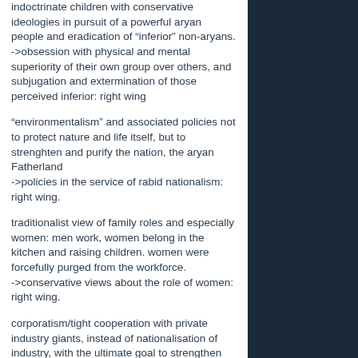indoctrinate children with conservative ideologies in pursuit of a powerful aryan people and eradication of "inferior" non-aryans.
->obsession with physical and mental superiority of their own group over others, and subjugation and extermination of those perceived inferior: right wing
“environmentalism” and associated policies not to protect nature and life itself, but to strenghten and purify the nation, the aryan Fatherland
->policies in the service of rabid nationalism: right wing.
traditionalist view of family roles and especially women: men work, women belong in the kitchen and raising children. women were forcefully purged from the workforce.
->conservative views about the role of women: right wing.
corporatism/tight cooperation with private industry giants, instead of nationalisation of industry, with the ultimate goal to strengthen the nation in preparation for war, establishment of a state controlled “trade union” for all workers in order to excert control over workers and for various